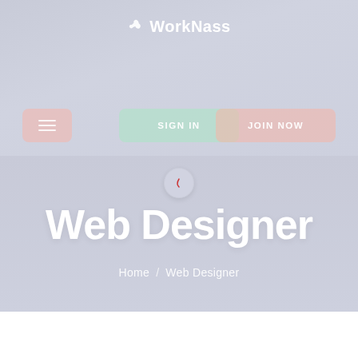[Figure (screenshot): WorkNass website screenshot showing navigation bar with menu button, SIGN IN and JOIN NOW buttons, and a hero section with 'Web Designer' title and breadcrumb navigation showing Home / Web Designer]
WorkNass
SIGN IN
JOIN NOW
Web Designer
Home / Web Designer